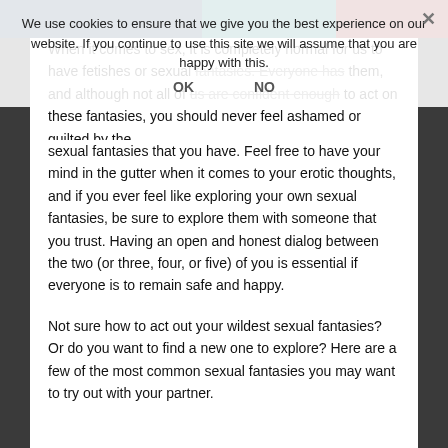We use cookies to ensure that we give you the best experience on our website. If you continue to use this site we will assume that you are happy with this.
OK   NO
When it comes to sex, it is completely normal for us to have fetishes or sexual fantasies. Everyone has them, and although not all of us are confident enough to act on these fantasies, you should never feel ashamed or guilted by the sexual fantasies that you have. Feel free to have your mind in the gutter when it comes to your erotic thoughts, and if you ever feel like exploring your own sexual fantasies, be sure to explore them with someone that you trust. Having an open and honest dialog between the two (or three, four, or five) of you is essential if everyone is to remain safe and happy.
Not sure how to act out your wildest sexual fantasies? Or do you want to find a new one to explore? Here are a few of the most common sexual fantasies you may want to try out with your partner.